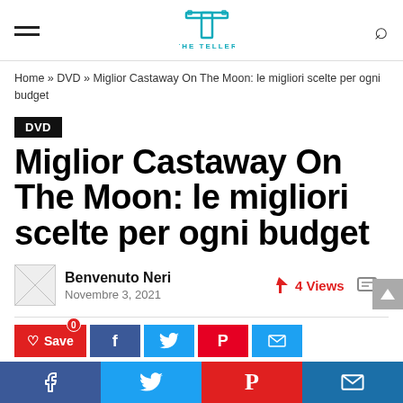THE TELLER
Home » DVD » Miglior Castaway On The Moon: le migliori scelte per ogni budget
DVD
Miglior Castaway On The Moon: le migliori scelte per ogni budget
Benvenuto Neri
Novembre 3, 2021
4 Views
0
[Figure (other): Bottom social sharing bar with Facebook, Twitter, Pinterest and email icons]